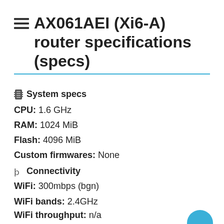AX061AEI (Xi6-A) router specifications (specs)
System specs
CPU: 1.6 GHz
RAM: 1024 MiB
Flash: 4096 MiB
Custom firmwares: None
Connectivity
WiFi: 300mbps (bgn)
WiFi bands: 2.4GHz
WiFi throughput: n/a
WAN: None